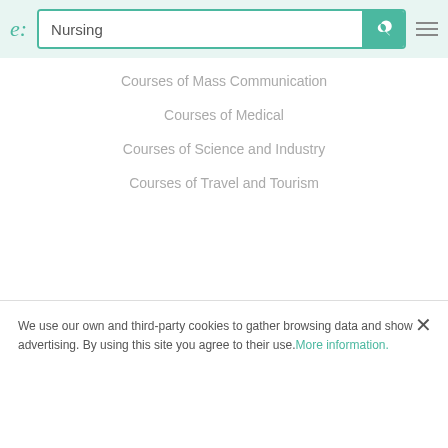e: [search: Nursing]
Courses of Hobbies and Leisure
Courses of Information Technology
Courses of Mass Communication
Courses of Medical
Courses of Science and Industry
Courses of Travel and Tourism
COMPANY
About Emagister
Blog
We use our own and third-party cookies to gather browsing data and show advertising. By using this site you agree to their use. More information.